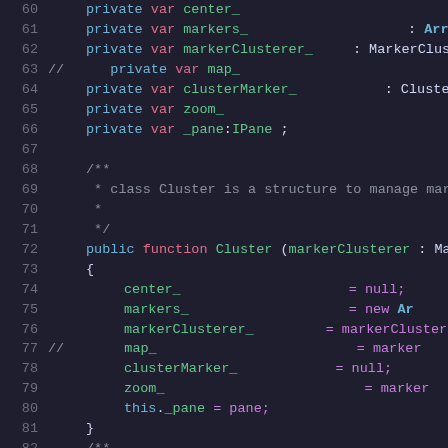[Figure (screenshot): Source code screenshot showing ActionScript/Haxe class definition lines 60-90, with syntax highlighting on dark background. Shows private variable declarations, constructor function Cluster, and getMarkers function.]